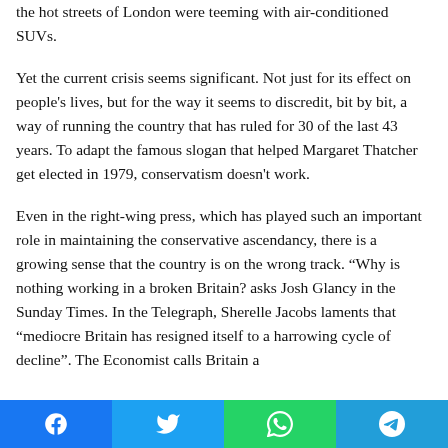the hot streets of London were teeming with air-conditioned SUVs.
Yet the current crisis seems significant. Not just for its effect on people's lives, but for the way it seems to discredit, bit by bit, a way of running the country that has ruled for 30 of the last 43 years. To adapt the famous slogan that helped Margaret Thatcher get elected in 1979, conservatism doesn't work.
Even in the right-wing press, which has played such an important role in maintaining the conservative ascendancy, there is a growing sense that the country is on the wrong track. “Why is nothing working in a broken Britain? asks Josh Glancy in the Sunday Times. In the Telegraph, Sherelle Jacobs laments that “mediocre Britain has resigned itself to a harrowing cycle of decline”. The Economist calls Britain a
[Figure (infographic): Social media sharing bar with Facebook, Twitter, WhatsApp, and Telegram buttons]